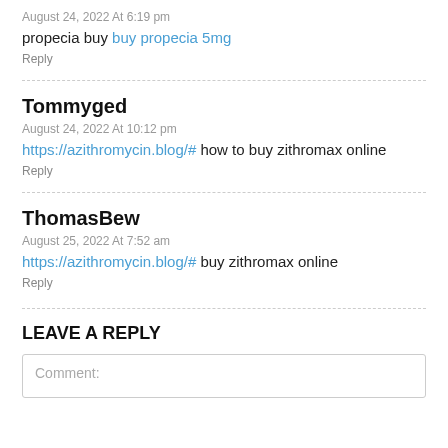August 24, 2022 At 6:19 pm
propecia buy buy propecia 5mg
Reply
Tommyged
August 24, 2022 At 10:12 pm
https://azithromycin.blog/# how to buy zithromax online
Reply
ThomasBew
August 25, 2022 At 7:52 am
https://azithromycin.blog/# buy zithromax online
Reply
LEAVE A REPLY
Comment: